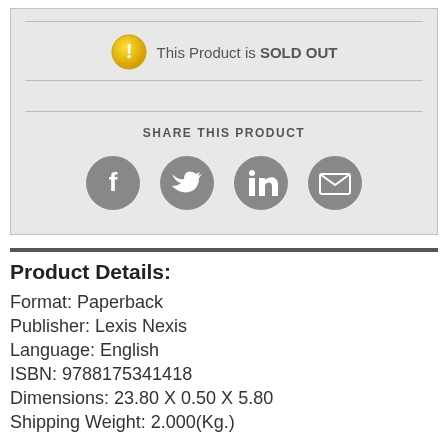[Figure (infographic): Sold out notice box with yellow warning icon and text 'This Product is SOLD OUT', followed by social sharing icons for Facebook, Twitter, LinkedIn, and Email]
This Product is SOLD OUT
SHARE THIS PRODUCT
Product Details:
Format: Paperback
Publisher: Lexis Nexis
Language: English
ISBN: 9788175341418
Dimensions: 23.80 X 0.50 X 5.80
Shipping Weight: 2.000(Kg.)